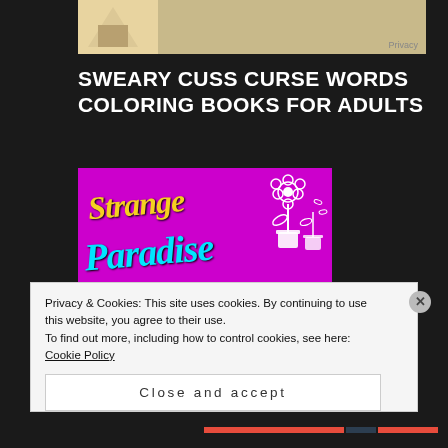[Figure (photo): Partial view of a book or product with beige/tan cover shown at top of page, with a 'Privacy' label in bottom right corner of the ad]
SWEARY CUSS CURSE WORDS COLORING BOOKS FOR ADULTS
[Figure (photo): Book cover for 'Strange Paradise Swear Word Coloring Book' with magenta/pink background, yellow script title 'Strange', cyan script 'Paradise', white flower illustrations, and a cat with sunglasses at bottom]
Privacy & Cookies: This site uses cookies. By continuing to use this website, you agree to their use.
To find out more, including how to control cookies, see here: Cookie Policy
Close and accept